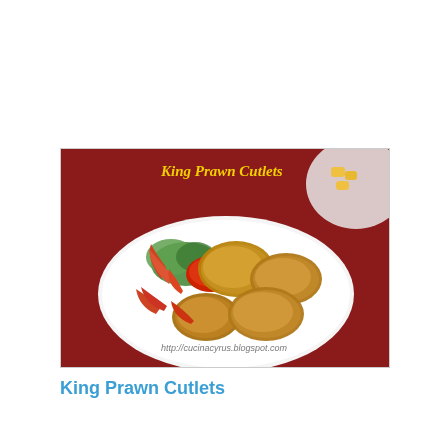[Figure (photo): Photo of King Prawn Cutlets: fried prawn cutlets arranged on a white oval plate with red dipping sauce and green lettuce garnish on a red tablecloth. Text overlay 'King Prawn Cutlets' in yellow. URL watermark visible at bottom.]
King Prawn Cutlets